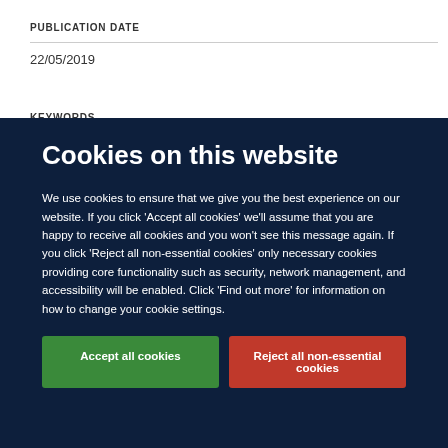PUBLICATION DATE
22/05/2019
KEYWORDS
Cookies on this website
We use cookies to ensure that we give you the best experience on our website. If you click 'Accept all cookies' we'll assume that you are happy to receive all cookies and you won't see this message again. If you click 'Reject all non-essential cookies' only necessary cookies providing core functionality such as security, network management, and accessibility will be enabled. Click 'Find out more' for information on how to change your cookie settings.
Accept all cookies
Reject all non-essential cookies